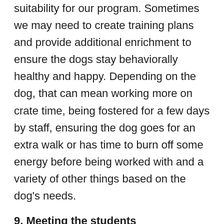suitability for our program. Sometimes we may need to create training plans and provide additional enrichment to ensure the dogs stay behaviorally healthy and happy. Depending on the dog, that can mean working more on crate time, being fostered for a few days by staff, ensuring the dog goes for an extra walk or has time to burn off some energy before being worked with and a variety of other things based on the dog's needs.
9. Meeting the students
At this point, our team has done a lot of work to ensure the dog is prepared for our program, but now comes the real test. On the first day of the program,